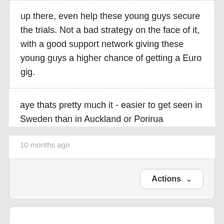up there, even help these young guys secure the trials. Not a bad strategy on the face of it, with a good support network giving these young guys a higher chance of getting a Euro gig.
aye thats pretty much it - easier to get seen in Sweden than in Auckland or Porirua
10 months ago
Actions
[Figure (logo): ART. logo in orange/brown serif font]